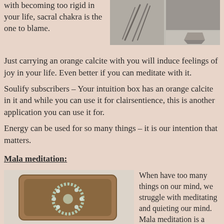with becoming too rigid in your life, sacral chakra is the one to blame.
[Figure (photo): Two photos side by side: feathers/brushes and a stone/crystal on a beige background]
Just carrying an orange calcite with you will induce feelings of joy in your life. Even better if you can meditate with it. Soulify subscribers – Your intuition box has an orange calcite in it and while you can use it for clairsentience, this is another application you can use it for. Energy can be used for so many things – it is our intention that matters.
Mala meditation:
[Figure (photo): A wooden tray containing mala beads arranged in a circular pattern]
When have too many things on our mind, we struggle with meditating and quieting our mind. Mala meditation is a